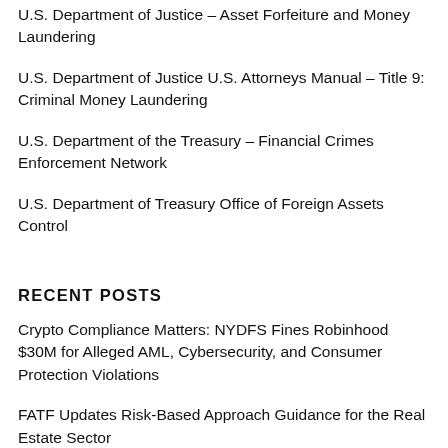U.S. Department of Justice – Asset Forfeiture and Money Laundering
U.S. Department of Justice U.S. Attorneys Manual – Title 9: Criminal Money Laundering
U.S. Department of the Treasury – Financial Crimes Enforcement Network
U.S. Department of Treasury Office of Foreign Assets Control
RECENT POSTS
Crypto Compliance Matters: NYDFS Fines Robinhood $30M for Alleged AML, Cybersecurity, and Consumer Protection Violations
FATF Updates Risk-Based Approach Guidance for the Real Estate Sector
Connecticut Department of Banking Issues Advisory on Money Transmission